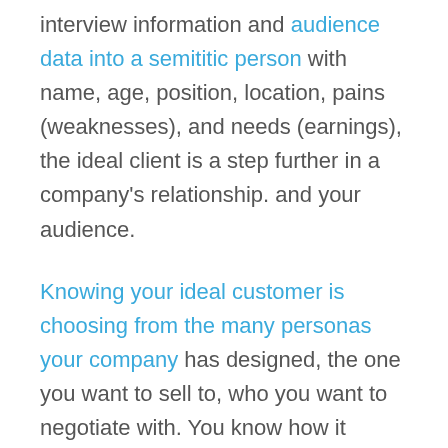interview information and audience data into a semititic person with name, age, position, location, pains (weaknesses), and needs (earnings), the ideal client is a step further in a company's relationship. and your audience.
Knowing your ideal customer is choosing from the many personas your company has designed, the one you want to sell to, who you want to negotiate with. You know how it behaves, which books it